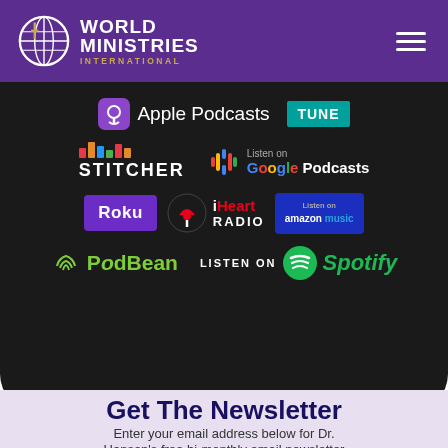[Figure (logo): World Ministries International logo with globe icon, purple background, and hamburger menu]
[Figure (infographic): Podcast platform badges on dark background: Apple Podcasts, TuneIn, Stitcher, Google Podcasts, Roku, iHeart Radio, Amazon Music, PodBean, Spotify]
Get The Newsletter
Enter your email address below for Dr. Hansen's free bi-monthly email newsletter